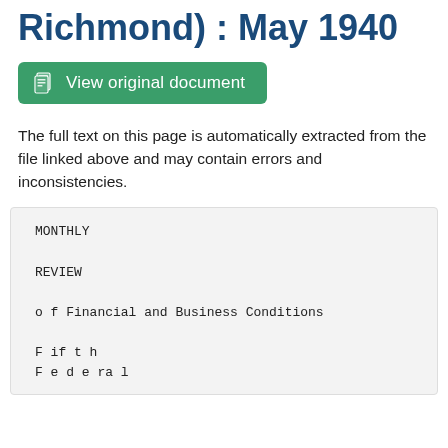Reserve Bank of Richmond) : May 1940
View original document
The full text on this page is automatically extracted from the file linked above and may contain errors and inconsistencies.
MONTHLY

REVIEW

o f Financial and Business Conditions

F if t h
F e d e ra l

Z ^ ""

nc